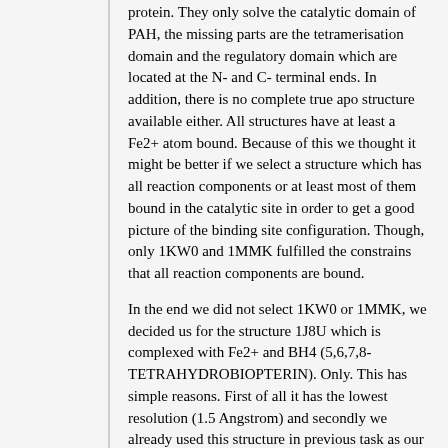protein. They only solve the catalytic domain of PAH, the missing parts are the tetramerisation domain and the regulatory domain which are located at the N- and C- terminal ends. In addition, there is no complete true apo structure available either. All structures have at least a Fe2+ atom bound. Because of this we thought it might be better if we select a structure which has all reaction components or at least most of them bound in the catalytic site in order to get a good picture of the binding site configuration. Though, only 1KW0 and 1MMK fulfilled the constrains that all reaction components are bound.
In the end we did not select 1KW0 or 1MMK, we decided us for the structure 1J8U which is complexed with Fe2+ and BH4 (5,6,7,8-TETRAHYDROBIOPTERIN). Only. This has simple reasons. First of all it has the lowest resolution (1.5 Angstrom) and secondly we already used this structure in previous task as our reference structure for PAH. So we think to keep our experiments more consistent we should stay with this structure. Furthermore, we